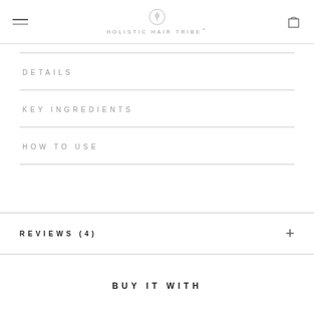HOLISTIC HAIR TRIBE™
DETAILS
KEY INGREDIENTS
HOW TO USE
REVIEWS (4)
BUY IT WITH